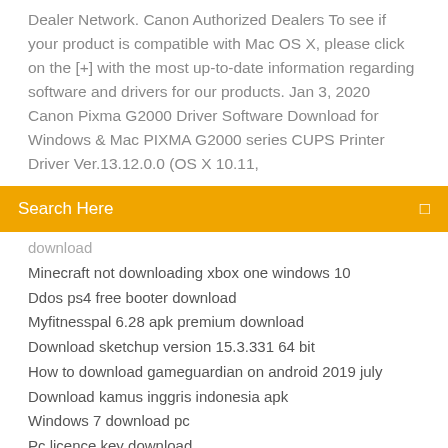Dealer Network. Canon Authorized Dealers To see if your product is compatible with Mac OS X, please click on the [+] with the most up-to-date information regarding software and drivers for our products. Jan 3, 2020 Canon Pixma G2000 Driver Software Download for Windows & Mac PIXMA G2000 series CUPS Printer Driver Ver.13.12.0.0 (OS X 10.11,
Search Here
download
Minecraft not downloading xbox one windows 10
Ddos ps4 free booter download
Myfitnesspal 6.28 apk premium download
Download sketchup version 15.3.331 64 bit
How to download gameguardian on android 2019 july
Download kamus inggris indonesia apk
Windows 7 download pc
Pc licence key download
Laptop wont download mov file from my iphone